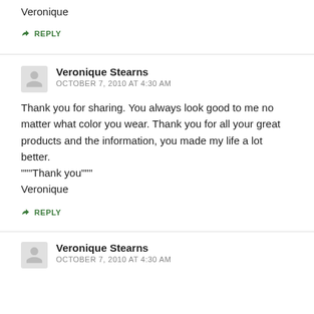Veronique
↳ REPLY
Veronique Stearns
OCTOBER 7, 2010 AT 4:30 AM
Thank you for sharing. You always look good to me no matter what color you wear. Thank you for all your great products and the information, you made my life a lot better.
"""Thank you"""
Veronique
↳ REPLY
Veronique Stearns
OCTOBER 7, 2010 AT 4:30 AM